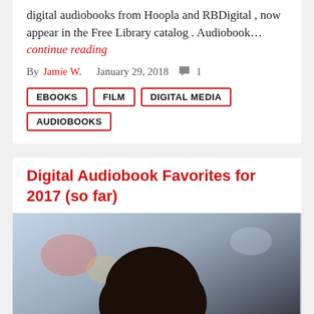digital audiobooks from Hoopla and RBDigital , now appear in the Free Library catalog . Audiobook… continue reading
By Jamie W.    January 29, 2018   💬 1
EBOOKS
FILM
DIGITAL MEDIA
AUDIOBOOKS
Digital Audiobook Favorites for 2017 (so far)
[Figure (photo): A young woman with curly afro hair wearing earphones, looking upward, blurred city background, listening to audiobooks]